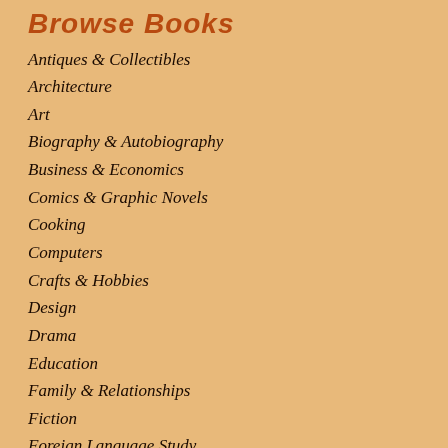Browse Books
Antiques & Collectibles
Architecture
Art
Biography & Autobiography
Business & Economics
Comics & Graphic Novels
Cooking
Computers
Crafts & Hobbies
Design
Drama
Education
Family & Relationships
Fiction
Foreign Language Study
Games & Activities
Gardening
Health & Fitness
History
House & Home
Humor
Juvenile Nonfiction
Juvenile Fiction